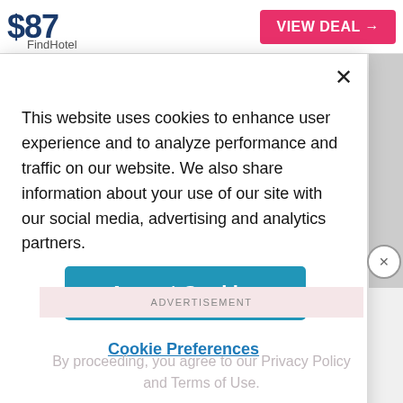$87
FindHotel
VIEW DEAL →
This website uses cookies to enhance user experience and to analyze performance and traffic on our website. We also share information about your use of our site with our social media, advertising and analytics partners.
Accept Cookies
Cookie Preferences
ADVERTISEMENT
By proceeding, you agree to our Privacy Policy and Terms of Use.